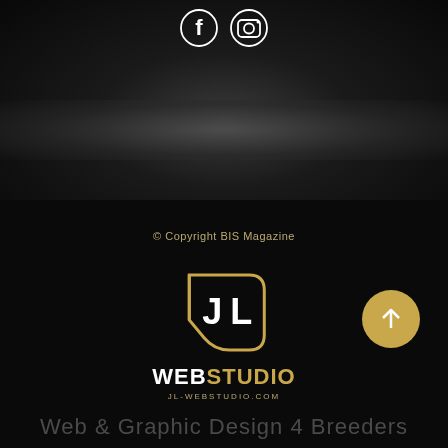[Figure (logo): Social media icons: Facebook (f) and Instagram (camera) in white on dark background]
[Figure (photo): Dark textured background with a blurred light streak across the middle]
© Copyright BIS Magazine
[Figure (logo): JL WebStudio logo: stylized JL letters in white inside a gold rounded square bracket shape, with WEBSTUDIO text below in gold/white and jl-webstudio.com URL]
[Figure (illustration): Gold circular button with upward arrow]
Web & Graphic Design 4 Breeders